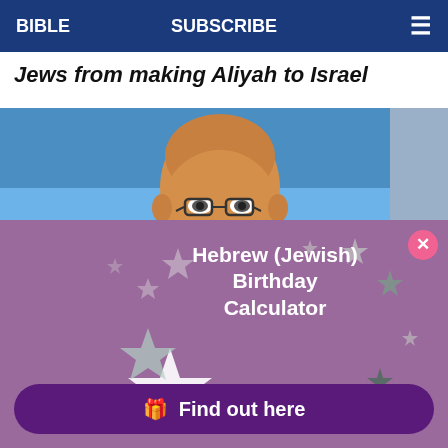BIBLE   SUBSCRIBE   ≡
Jews from making Aliyah to Israel
[Figure (photo): A bald man with glasses photographed against a blue background, with an optinmonster watermark in the lower right corner]
[Figure (screenshot): A popup overlay with purple/mauve background showing 'Hebrew (Jewish) Birthday Calculator' title with star decorations, 'When is your Hebrew Birthday?' question, and a 'Find out here' button with gift icon. Has a close X button in top right.]